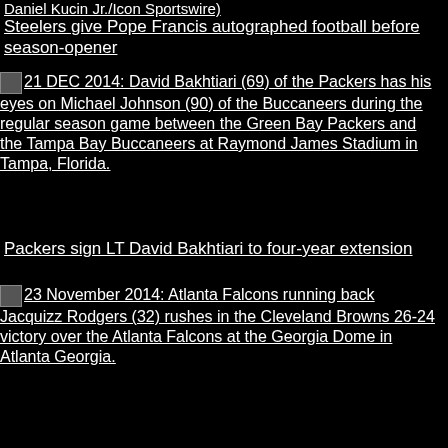Daniel Kucin Jr./Icon Sportswire)
Steelers give Pope Francis autographed football before season-opener
[Figure (photo): 21 DEC 2014: David Bakhtiari (69) of the Packers has his eyes on Michael Johnson (90) of the Buccaneers during the regular season game between the Green Bay Packers and the Tampa Bay Buccaneers at Raymond James Stadium in Tampa, Florida.]
Packers sign LT David Bakhtiari to four-year extension
[Figure (photo): 23 November 2014: Atlanta Falcons running back Jacquizz Rodgers (32) rushes in the Cleveland Browns 26-24 victory over the Atlanta Falcons at the Georgia Dome in Atlanta Georgia.]
Report: Buccaneers sign former Falcons RB Jacquizz Rodgers
[Figure (photo): Jan. 11, 2015 - Green Bay, WI, USA - Dallas Cowboys wide receiver Dez Bryant (88) appears to haul in a pass to the Green Bay one-yard line while being defended by Green Bay Packers cornerback Sam Shields (37) during the fourth quarter on Sunday, Jan. 11, 2015, at Lambeau Field in Green Bay, Wis. The play was ruled incomplete, and the ball was given to the Packers]
Packers CB Sam Shields enters concussion